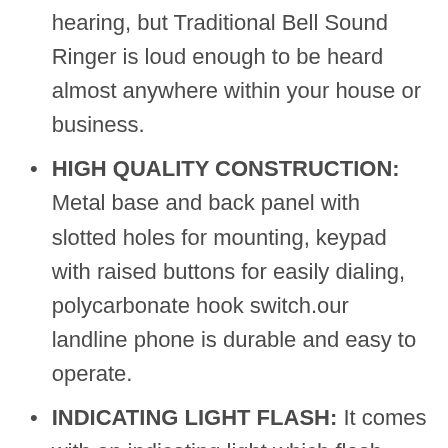hearing, but Traditional Bell Sound Ringer is loud enough to be heard almost anywhere within your house or business.
HIGH QUALITY CONSTRUCTION: Metal base and back panel with slotted holes for mounting, keypad with raised buttons for easily dialing, polycarbonate hook switch.our landline phone is durable and easy to operate.
INDICATING LIGHT FLASH: It comes with an indicating light which flash when the wall phone rings;
TWICE BUTTON INJECTION: With 2 times injection molding process, the characters on button will be difficult to wear, the ultra-long handle cord -12FT. so that you do not need to kneel down the